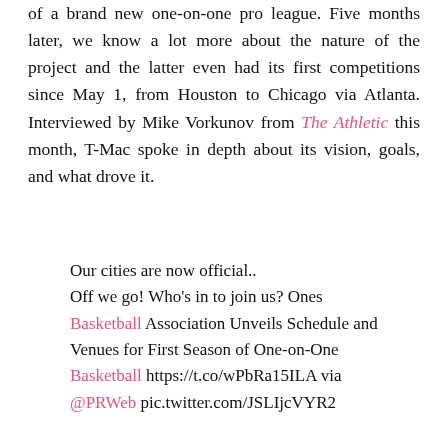of a brand new one-on-one pro league. Five months later, we know a lot more about the nature of the project and the latter even had its first competitions since May 1, from Houston to Chicago via Atlanta. Interviewed by Mike Vorkunov from The Athletic this month, T-Mac spoke in depth about its vision, goals, and what drove it.
Our cities are now official.. Off we go! Who's in to join us? Ones Basketball Association Unveils Schedule and Venues for First Season of One-on-One Basketball https://t.co/wPbRa15ILA via @PRWeb pic.twitter.com/JSLIjcVYR2